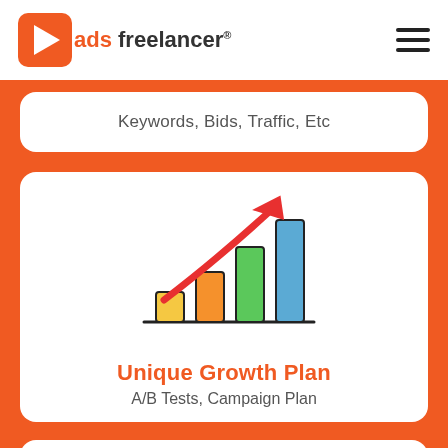ads freelancer®
Keywords, Bids, Traffic, Etc
[Figure (illustration): Bar chart illustration with four colored bars (yellow, orange, green, blue) and a red upward arrow, indicating growth]
Unique Growth Plan
A/B Tests, Campaign Plan
[Figure (illustration): Partially visible money bag icon with dollar sign]